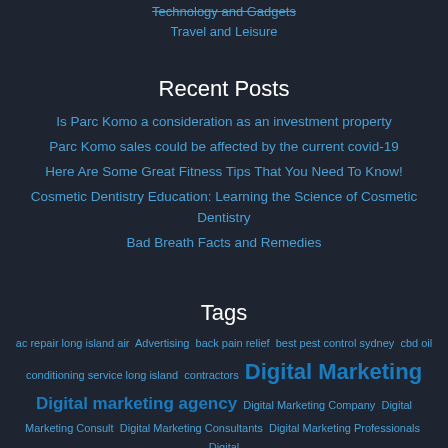Technology and Gadgets
Travel and Leisure
Recent Posts
Is Parc Komo a consideration as an investment property
Parc Komo sales could be affected by the current covid-19
Here Are Some Great Fitness Tips That You Need To Know!
Cosmetic Dentistry Education: Learning the Science of Cosmetic Dentistry
Bad Breath Facts and Remedies
Tags
ac repair long island air  Advertising  back pain relief  best pest control sydney  cbd oil conditioning service long island  contractors  Digital Marketing  Digital marketing agency  Digital Marketing Company  Digital Marketing Consult  Digital Marketing Consultants  Digital Marketing Professionals  Digital